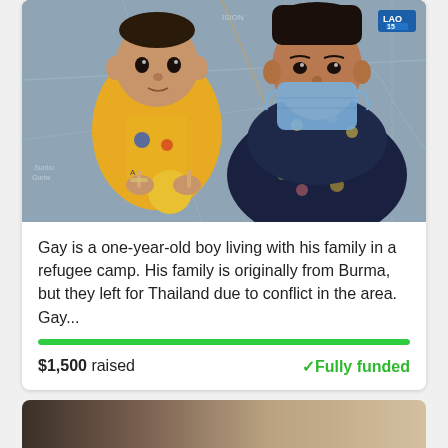[Figure (photo): Photo of a young woman wearing a floral dress and blue surgical mask holding a one-year-old baby boy in a yellow patterned outfit. They are posed in front of a map background. A blue badge in the top right reads 'LAO 15'.]
Gay is a one-year-old boy living with his family in a refugee camp. His family is originally from Burma, but they left for Thailand due to conflict in the area. Gay...
$1,500 raised
✓Fully funded